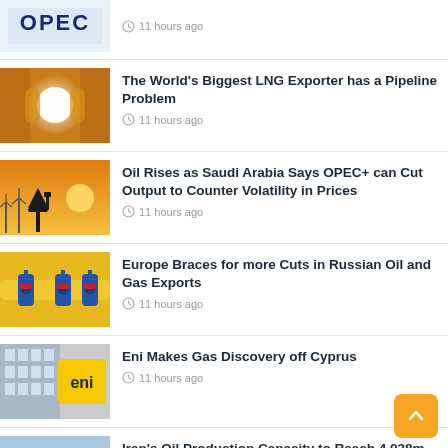[Figure (screenshot): OPEC logo thumbnail (partial, top cropped)]
11 hours ago
[Figure (photo): Close-up of a large industrial pipe or tube]
The World’s Biggest LNG Exporter has a Pipeline Problem
11 hours ago
[Figure (photo): Oil pump jack silhouette at sunset with wind turbines]
Oil Rises as Saudi Arabia Says OPEC+ can Cut Output to Counter Volatility in Prices
11 hours ago
[Figure (photo): Yellow industrial gas pipes with blue valve fittings]
Europe Braces for more Cuts in Russian Oil and Gas Exports
11 hours ago
[Figure (photo): Eni corporate building with yellow Eni logo sign]
Eni Makes Gas Discovery off Cyprus
11 hours ago
[Figure (photo): Cargo container ship at sea]
Iran’s Oil Production Capacity to Reach 4.038m bpd
1 day ago